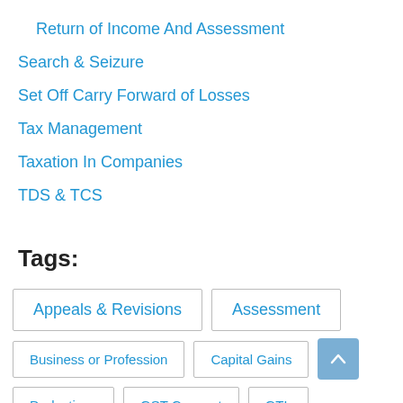Return of Income And Assessment
Search & Seizure
Set Off Carry Forward of Losses
Tax Management
Taxation In Companies
TDS & TCS
Tags:
Appeals & Revisions
Assessment
Business or Profession
Capital Gains
Deductions
GST Connect
GTL